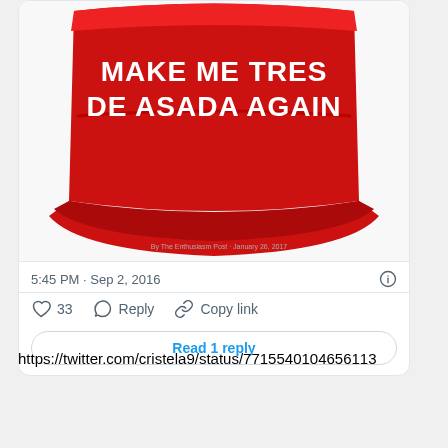[Figure (photo): A red baseball cap styled like a MAGA hat with white embroidered text reading 'MAKE ME TRES DE ASADA AGAIN']
5:45 PM · Sep 2, 2016
33  Reply  Copy link
Read 1 reply
https://twitter.com/cristela9/status/7715540104656113